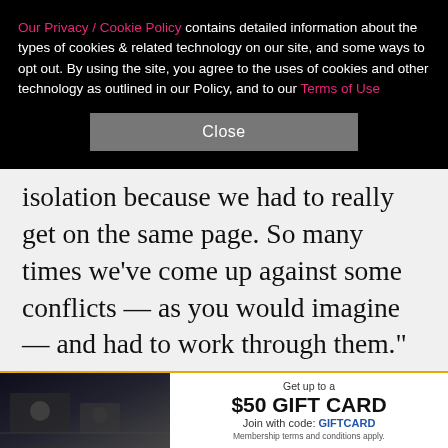Our Privacy / Cookie Policy contains detailed information about the types of cookies & related technology on our site, and some ways to opt out. By using the site, you agree to the uses of cookies and other technology as outlined in our Policy, and to our Terms of Use
Close
isolation because we had to really get on the same page. So many times we've come up against some conflicts — as you would imagine — and had to work through them." (Earlier this month, Kyle said, "Basically, [we] just fast-forwarded through a year of therapy and getting to an amazing place in three weeks because now we have to live together.") The mother of three went on to say that things have been "working well" with her ex living in the studio on her property in
[Figure (infographic): Advertisement banner: Get up to a $50 GIFT CARD, Join with code: GIFTCARD. Membership terms and conditions apply. Left side shows a dark image of people near vehicles.]